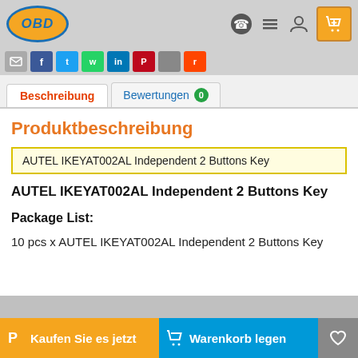[Figure (screenshot): OBD logo in orange oval with blue border]
[Figure (screenshot): Navigation icons: WhatsApp, menu, account, cart]
[Figure (screenshot): Social share buttons row: email, Facebook, Twitter, WhatsApp, LinkedIn, Pinterest, copy, Reddit]
Beschreibung
Bewertungen 0
Produktbeschreibung
AUTEL IKEYAT002AL Independent 2 Buttons Key
AUTEL IKEYAT002AL Independent 2 Buttons Key
Package List:
10 pcs x AUTEL IKEYAT002AL Independent 2 Buttons Key
Kaufen Sie es jetzt   Warenkorb legen